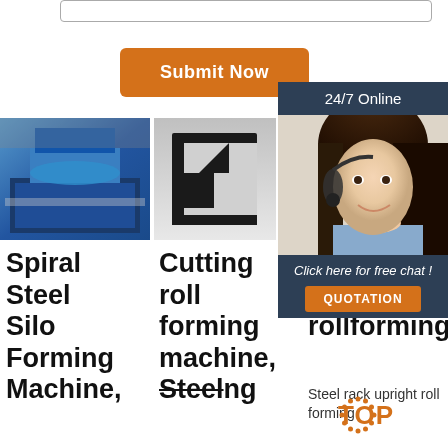[Figure (other): Input text box (partially visible at top)]
Submit Now
[Figure (photo): Blue industrial spiral steel silo forming machine in factory]
[Figure (photo): Black metal cutting roll forming machine profile piece on white background]
[Figure (photo): Two small product images stacked: steel rack and blue roll forming machine]
[Figure (photo): Customer service agent woman wearing headset with 24/7 Online chat panel overlay, Click here for free chat!, QUOTATION button]
Spiral Steel Silo Forming Machine,
Cutting roll forming machine, Steel
HO... [www...rollforming. Steel rack upright roll forming
Steel rack upright roll forming